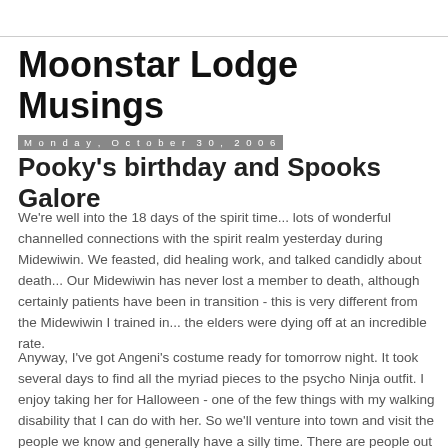Moonstar Lodge Musings
Monday, October 30, 2006
Pooky's birthday and Spooks Galore
We're well into the 18 days of the spirit time... lots of wonderful channelled connections with the spirit realm yesterday during Midewiwin. We feasted, did healing work, and talked candidly about death... Our Midewiwin has never lost a member to death, although certainly patients have been in transition - this is very different from the Midewiwin I trained in... the elders were dying off at an incredible rate.
Anyway, I've got Angeni's costume ready for tomorrow night. It took several days to find all the myriad pieces to the psycho Ninja outfit. I enjoy taking her for Halloween - one of the few things with my walking disability that I can do with her. So we'll venture into town and visit the people we know and generally have a silly time. There are people out here in